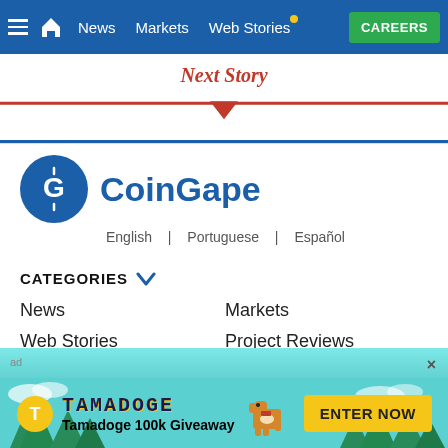News | Markets | Web Stories | CAREERS
Next Story
[Figure (logo): CoinGape logo with blue circle G icon and brand name, language links: English | Portuguese | Español]
CATEGORIES
News
Markets
Web Stories
Project Reviews
Cryptoguru
Interviews
[Figure (infographic): Tamadoge 100k Giveaway advertisement banner with teal background, trees, dog character, coin icon, ENTER NOW button]